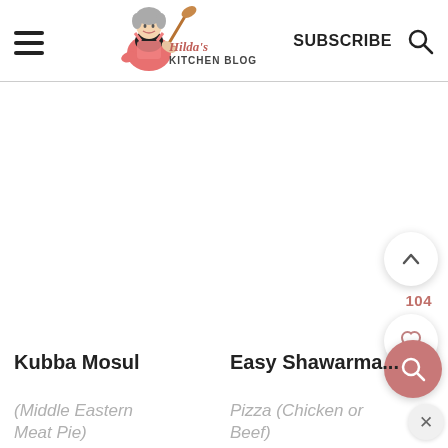Hilda's Kitchen Blog — SUBSCRIBE
[Figure (logo): Hilda's Kitchen Blog logo with cartoon woman in pink apron holding wooden spoon]
Kubba Mosul
Easy Shawarma...
(Middle Eastern Meat Pie)
Pizza (Chicken or Beef)